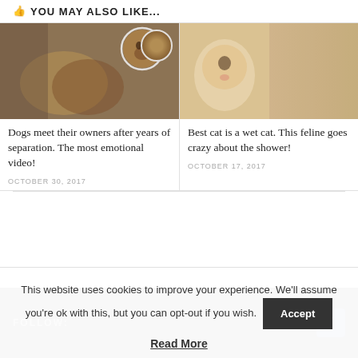YOU MAY ALSO LIKE...
[Figure (photo): Two dogs, one being held by a person in camouflage, with a circular inset photo of a dog's face]
[Figure (photo): Two photos of a fluffy cat, one before and one after a shower, looking surprised]
Dogs meet their owners after years of separation. The most emotional video!
OCTOBER 30, 2017
Best cat is a wet cat. This feline goes crazy about the shower!
OCTOBER 17, 2017
FOLLOW:
This website uses cookies to improve your experience. We'll assume you're ok with this, but you can opt-out if you wish.
Accept
Read More